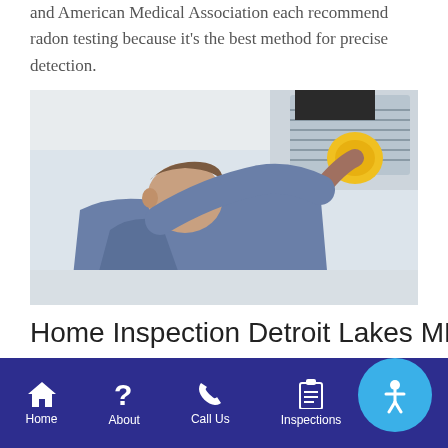and American Medical Association each recommend radon testing because it’s the best method for precise detection.
[Figure (photo): A man in a grey t-shirt reaches up to inspect or service a ceiling vent/air duct with a yellow tool, set in a white-walled room.]
Home Inspection Detroit Lakes MN
A cancer-causing gas, radon is not visible and does
[Figure (other): Blue circular accessibility button with a person/accessibility icon in white]
Home  About  Call Us  Inspections  Menu